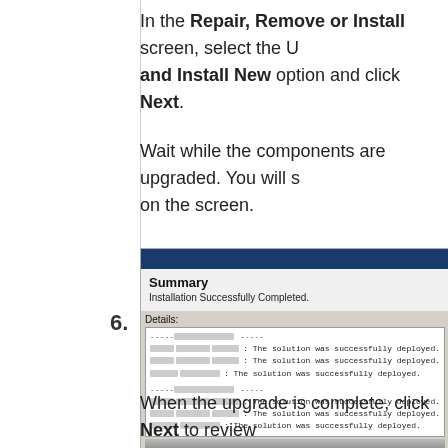In the Repair, Remove or Install screen, select the U and Install New option and click Next.
Wait while the components are upgraded. You will s on the screen.
6.
[Figure (screenshot): Screenshot showing a Summary dialog with 'Installation Successfully Completed.' and a Details section showing log entries with 'The solution was successfully deployed.' repeated multiple times.]
When the upgrade is complete, click Next to review and confirm that the product upgrade was successf